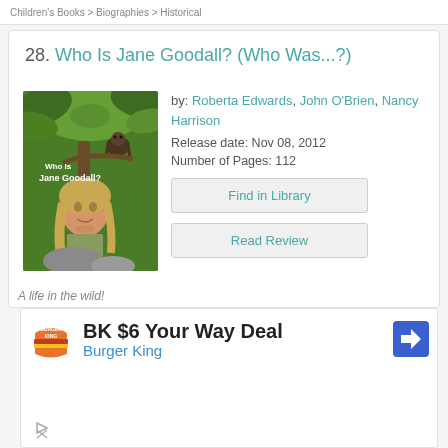Children's Books > Biographies > Historical
28. Who Is Jane Goodall? (Who Was...?)
[Figure (illustration): Book cover illustration of 'Who Is Jane Goodall?' showing a young woman with blonde hair in a forest/jungle setting with a chimpanzee in a tree above her, surrounded by tropical green foliage and rocks]
by: Roberta Edwards, John O'Brien, Nancy Harrison
Release date: Nov 08, 2012
Number of Pages: 112
Find in Library
Read Review
A life in the wild!
[Figure (other): Burger King advertisement: BK $6 Your Way Deal, Burger King logo on left, navigation arrow icon on right]